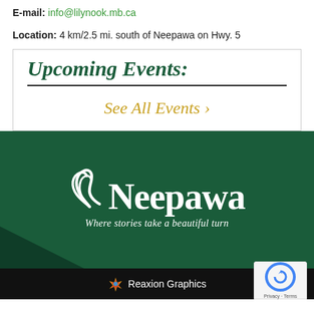E-mail: info@lilynook.mb.ca
Location: 4 km/2.5 mi. south of Neepawa on Hwy. 5
Upcoming Events:
See All Events ›
[Figure (logo): Neepawa city logo with stylized wave/leaf symbol above text 'Neepawa' and tagline 'Where stories take a beautiful turn' on dark green background]
Reaxion Graphics